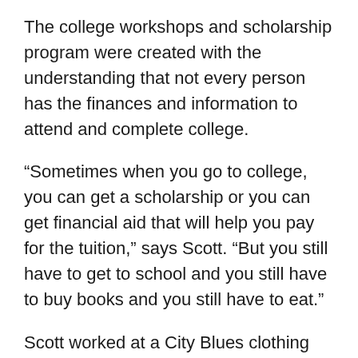The college workshops and scholarship program were created with the understanding that not every person has the finances and information to attend and complete college.
“Sometimes when you go to college, you can get a scholarship or you can get financial aid that will help you pay for the tuition,” says Scott. “But you still have to get to school and you still have to buy books and you still have to eat.”
Scott worked at a City Blues clothing store and an ice cream parlor to make ends meet while studying education at Temple University. She wanted to be a teacher. But she quit college during her junior year because she did not have the financial means to finish.